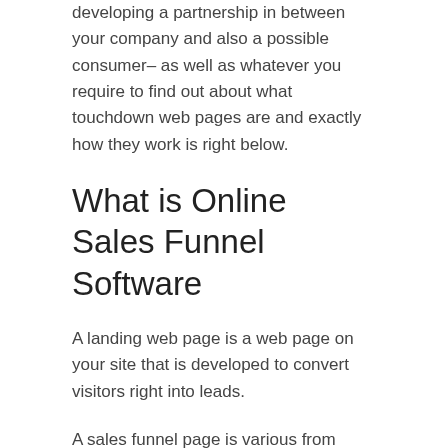developing a partnership in between your company and also a possible consumer– as well as whatever you require to find out about what touchdown web pages are and exactly how they work is right below.
What is Online Sales Funnel Software
A landing web page is a web page on your site that is developed to convert visitors right into leads.
A sales funnel page is various from various other web pages because it adheres to both of these criteria:
It has a type that allows you to catch a visitor's